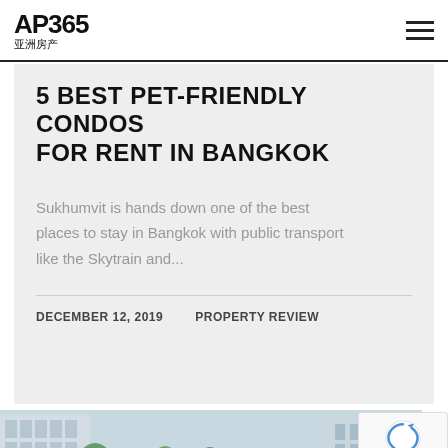AP365 亚洲房产
5 BEST PET-FRIENDLY CONDOS FOR RENT IN BANGKOK
Sukhumvit is hands down one of the best places to stay in Bangkok with public transport like the Skytrain and...
DECEMBER 12, 2019   PROPERTY REVIEW
[Figure (photo): Aerial rendering of a modern condominium complex with pool and greenery in Bangkok]